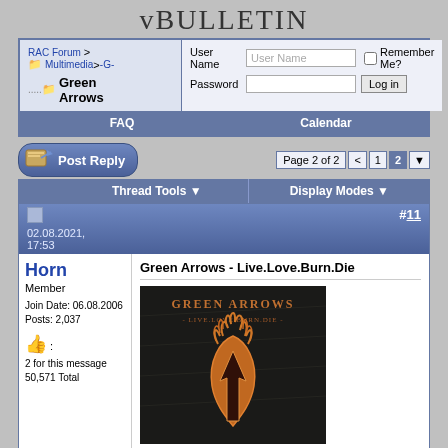vBULLETIN
RAC Forum > Multimedia > -G- Green Arrows
User Name | Password | Remember Me? | Log in
FAQ | Calendar
Post Reply | Page 2 of 2 < 1 2
Thread Tools | Display Modes
02.08.2021, 17:53   #11
Horn
Member
Join Date: 06.08.2006
Posts: 2,037
👍 : 2 for this message
50,571 Total
Green Arrows - Live.Love.Burn.Die
[Figure (illustration): Album cover for Green Arrows - Live.Love.Burn.Die. Dark background with orange/copper colored flaming arrow/crest graphic and band name text.]